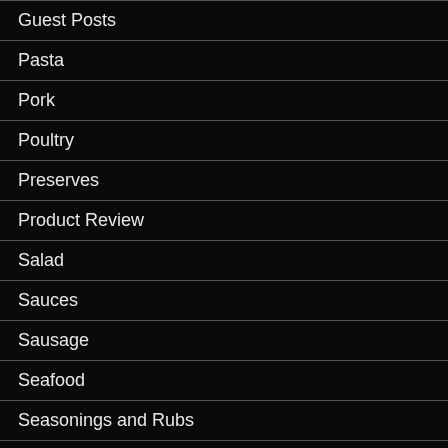Guest Posts
Pasta
Pork
Poultry
Preserves
Product Review
Salad
Sauces
Sausage
Seafood
Seasonings and Rubs
Side Dish